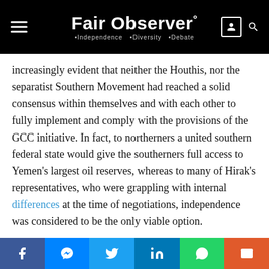Fair Observer° • Independence • Diversity • Debate
increasingly evident that neither the Houthis, nor the separatist Southern Movement had reached a solid consensus within themselves and with each other to fully implement and comply with the provisions of the GCC initiative. In fact, to northerners a united southern federal state would give the southerners full access to Yemen's largest oil reserves, whereas to many of Hirak's representatives, who were grappling with internal differences at the time of negotiations, independence was considered to be the only viable option.
The Houthi Surge